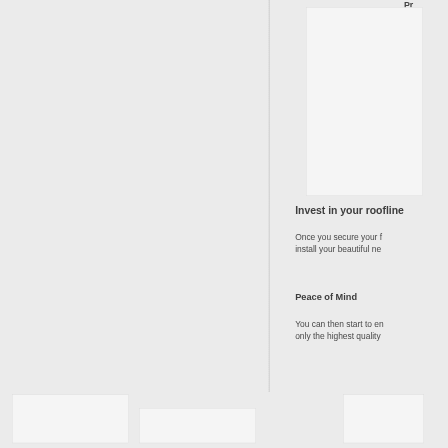[Figure (photo): White/light image box in the upper right column area]
Invest in your roofline
Once you secure your f... install your beautiful ne...
Peace of Mind
You can then start to en... only the highest quality ...
[Figure (photo): White image box partially visible at bottom left]
[Figure (photo): White image box partially visible at bottom center]
[Figure (photo): White image box partially visible at bottom right]